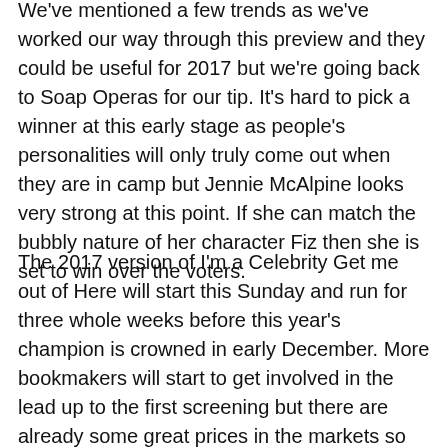We've mentioned a few trends as we've worked our way through this preview and they could be useful for 2017 but we're going back to Soap Operas for our tip. It's hard to pick a winner at this early stage as people's personalities will only truly come out when they are in camp but Jennie McAlpine looks very strong at this point. If she can match the bubbly nature of her character Fiz then she is set to win over the voters.
The 2017 version of I'm a Celebrity Get me out of Here will start this Sunday and run for three whole weeks before this year's champion is crowned in early December. More bookmakers will start to get involved in the lead up to the first screening but there are already some great prices in the markets so you could go early and take advantage of those before they start to